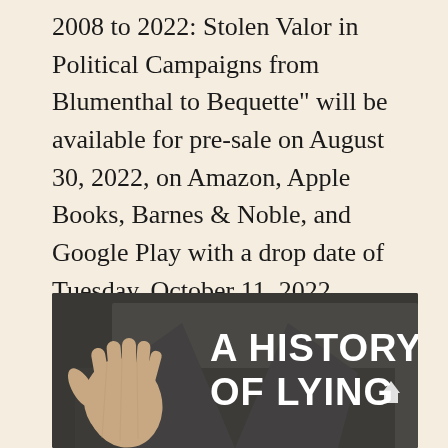2008 to 2022: Stolen Valor in Political Campaigns from Blumenthal to Bequette" will be available for pre-sale on August 30, 2022, on Amazon, Apple Books, Barnes & Noble, and Google Play with a drop date of Tuesday, October 11, 2022. Physical copies will be available from Amazon on the same day. In addition, bookstores and libraries can obtain bulk copies of the book from Ingram Distribution.
[Figure (photo): Book cover photo showing a person in a dark jacket with raised hand on the left, and the title 'A HISTORY OF LYING' in large white bold text on the right side of the cover.]